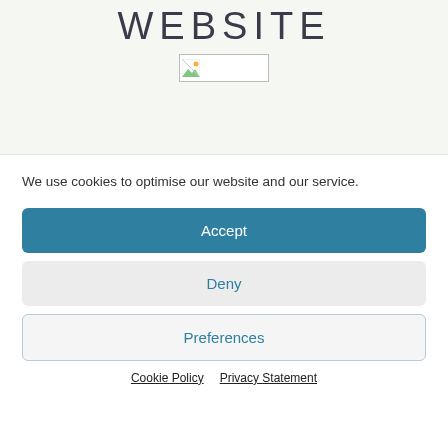WEBSITE
[Figure (logo): Small logo placeholder image with broken image icon]
We use cookies to optimise our website and our service.
Accept
Deny
Preferences
Cookie Policy   Privacy Statement